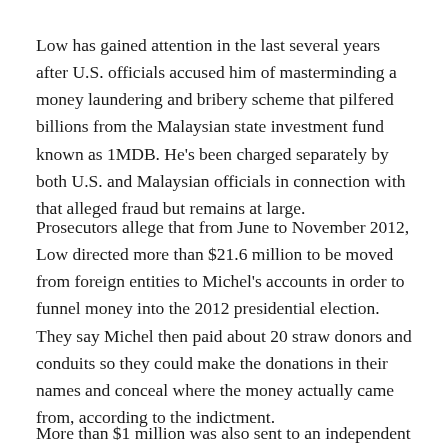Low has gained attention in the last several years after U.S. officials accused him of masterminding a money laundering and bribery scheme that pilfered billions from the Malaysian state investment fund known as 1MDB. He's been charged separately by both U.S. and Malaysian officials in connection with that alleged fraud but remains at large.
Prosecutors allege that from June to November 2012, Low directed more than $21.6 million to be moved from foreign entities to Michel's accounts in order to funnel money into the 2012 presidential election. They say Michel then paid about 20 straw donors and conduits so they could make the donations in their names and conceal where the money actually came from, according to the indictment.
More than $1 million was also sent to an independent